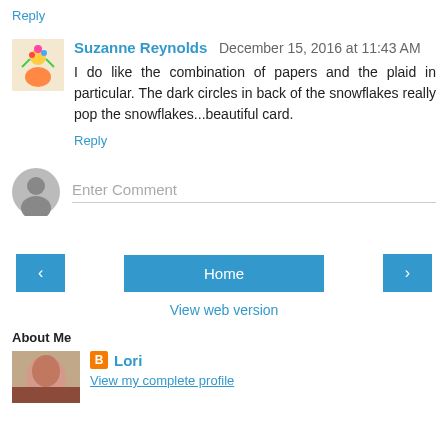Reply
Suzanne Reynolds  December 15, 2016 at 11:43 AM
I do like the combination of papers and the plaid in particular. The dark circles in back of the snowflakes really pop the snowflakes...beautiful card.
Reply
Enter Comment
Home
View web version
About Me
Lori
View my complete profile